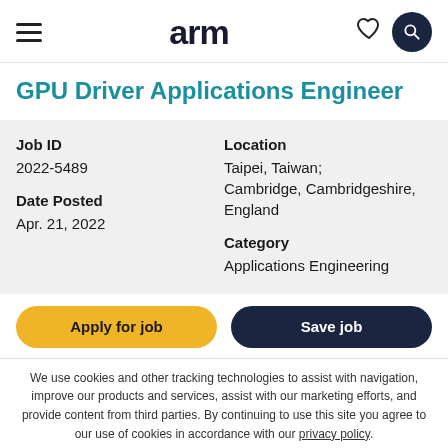arm
GPU Driver Applications Engineer
| Job ID | Location |
| 2022-5489 | Taipei, Taiwan; Cambridge, Cambridgeshire, England |
| Date Posted | Category |
| Apr. 21, 2022 | Applications Engineering |
We use cookies and other tracking technologies to assist with navigation, improve our products and services, assist with our marketing efforts, and provide content from third parties. By continuing to use this site you agree to our use of cookies in accordance with our privacy policy.
Manage third-party cookie preferences here.